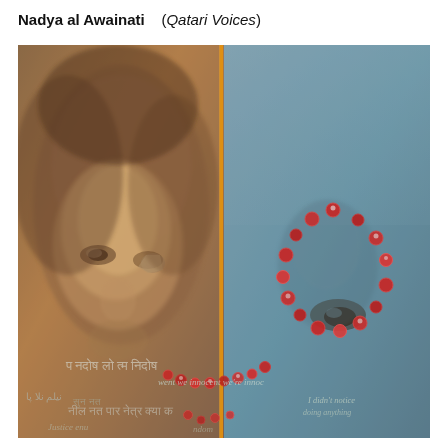Nadya al Awainati   (Qatari Voices)
[Figure (photo): A mixed-media artwork showing a face emerging from a textured background divided by a vertical orange line. The left side shows a face in warm brown/amber tones, the right side shows blue-grey tones with a red beaded decorative element and overlaid text in multiple scripts including Hindi/Devanagari and English phrases such as 'went we innocent we', 'I didn't notice', 'doing anything'. Red beaded garlands are scattered across the composition.]